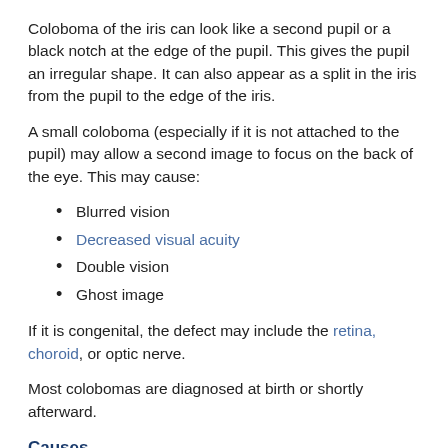Coloboma of the iris can look like a second pupil or a black notch at the edge of the pupil. This gives the pupil an irregular shape. It can also appear as a split in the iris from the pupil to the edge of the iris.
A small coloboma (especially if it is not attached to the pupil) may allow a second image to focus on the back of the eye. This may cause:
Blurred vision
Decreased visual acuity
Double vision
Ghost image
If it is congenital, the defect may include the retina, choroid, or optic nerve.
Most colobomas are diagnosed at birth or shortly afterward.
Causes
Most cases of coloboma have no known cause and are not